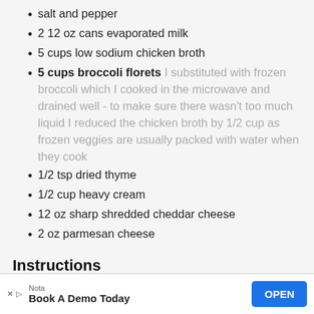salt and pepper
2 12 oz cans evaporated milk
5 cups low sodium chicken broth
5 cups broccoli florets I substituted with frozen broccoli which I cooked in the microwave and drained well - to make sure there wasn't too much liquid I reduced the chicken broth by 1/2 cup as frozen veggies are usually packed with water when they cook
1/2 tsp dried thyme
1/2 cup heavy cream
12 oz sharp shredded cheddar cheese
2 oz parmesan cheese
Instructions
In large skillet melt butter over medium heat.